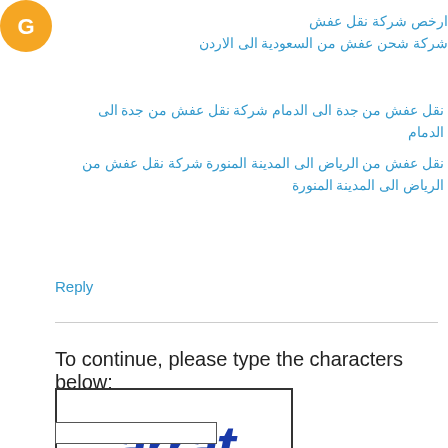[Figure (logo): Orange circular logo/avatar icon]
ارخص شركة نقل عفش
شركة شحن عفش من السعودية الى الاردن
نقل عفش من جدة الى الدمام شركة نقل عفش من جدة الى الدمام
نقل عفش من الرياض الى المدينة المنورة شركة نقل عفش من الرياض الى المدينة المنورة
Reply
To continue, please type the characters below:
[Figure (other): CAPTCHA image showing the text 'arrat' in stylized blue letters]
Input field for CAPTCHA